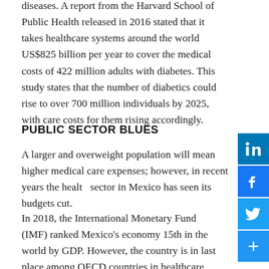diseases. A report from the Harvard School of Public Health released in 2016 stated that it takes healthcare systems around the world US$825 billion per year to cover the medical costs of 422 million adults with diabetes. This study states that the number of diabetics could rise to over 700 million individuals by 2025, with care costs for them rising accordingly.
PUBLIC SECTOR BLUES
A larger and overweight population will mean higher medical care expenses; however, in recent years the health sector in Mexico has seen its budgets cut.
In 2018, the International Monetary Fund (IMF) ranked Mexico's economy 15th in the world by GDP. However, the country is in last place among OECD countries in healthcare expenditure. Mexico invests only 5.8 percent of its GDP in healthcare, while the OECD average is 9 percent. Moreover,